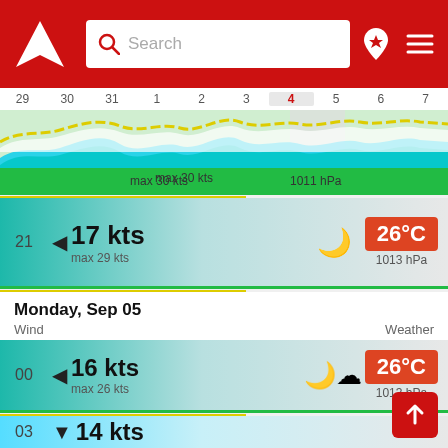Search bar with logo and navigation icons
[Figure (screenshot): Calendar date strip showing days 29, 30, 31, 1, 2, 3, 4 (highlighted), 5, 6, 7]
[Figure (area-chart): Wind forecast chart showing colored wave areas (green, cyan, white/yellow) across date range. Labels: max 30 kts, 1011 hPa]
21 | 17 kts | max 29 kts | 26°C | 1013 hPa
Monday, Sep 05
Wind | Weather
00 | 16 kts | max 26 kts | 26°C | 1013 hPa
03 | 14 kts | max 22 kts | 25°C | 1012 hPa
06 | 13 kts | 24°C